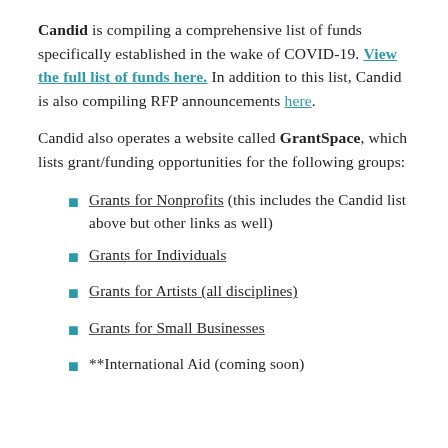Candid is compiling a comprehensive list of funds specifically established in the wake of COVID-19. View the full list of funds here. In addition to this list, Candid is also compiling RFP announcements here.
Candid also operates a website called GrantSpace, which lists grant/funding opportunities for the following groups:
Grants for Nonprofits (this includes the Candid list above but other links as well)
Grants for Individuals
Grants for Artists (all disciplines)
Grants for Small Businesses
**International Aid (coming soon)